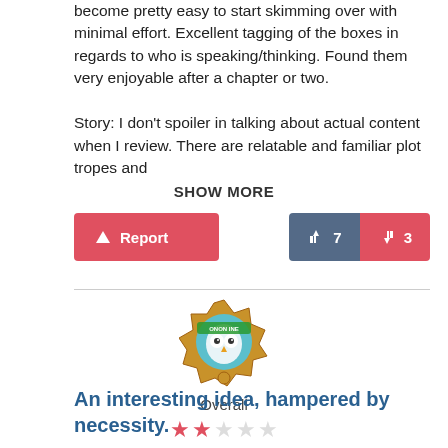become pretty easy to start skimming over with minimal effort. Excellent tagging of the boxes in regards to who is speaking/thinking. Found them very enjoyable after a chapter or two.

Story: I don't spoiler in talking about actual content when I review. There are relatable and familiar plot tropes and
SHOW MORE
Report   7   3
[Figure (illustration): Circular avatar badge showing an owl character with teal background, golden decorative border, and green text 'ONON INE']
Overall
★★☆☆☆ (2 out of 5 stars)
An interesting idea, hampered by necessity.